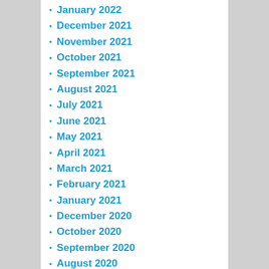January 2022
December 2021
November 2021
October 2021
September 2021
August 2021
July 2021
June 2021
May 2021
April 2021
March 2021
February 2021
January 2021
December 2020
October 2020
September 2020
August 2020
July 2020
June 2020
May 2020
April 2020
March 2020